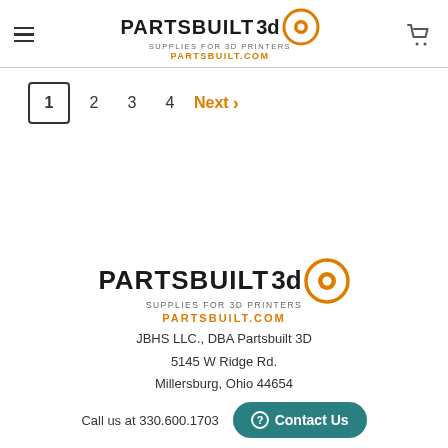Partsbuilt 3D — Supplies for 3D Printers — PARTSBUILT.COM
1  2  3  4  Next >
[Figure (logo): Partsbuilt 3D logo with orange circle, text 'Supplies for 3D Printers' and 'PARTSBUILT.COM']
JBHS LLC., DBA Partsbuilt 3D
5145 W Ridge Rd.
Millersburg, Ohio 44654
Call us at 330.600.1703
Contact Us